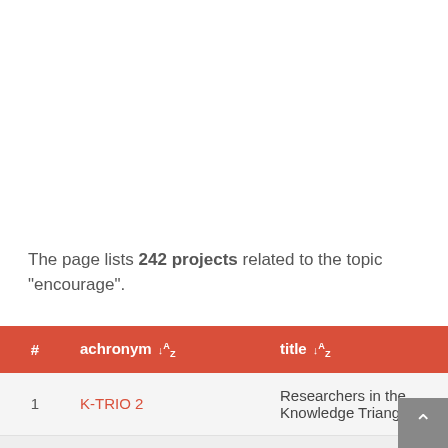The page lists 242 projects related to the topic "encourage".
| # | acroynym ↓A/Z | title ↓A/Z |
| --- | --- | --- |
| 1 | K-TRIO 2 | Researchers in the Knowledge Triangle |
| 2 | Science in the City | Science in the City |